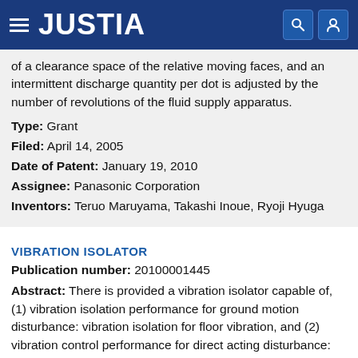JUSTIA
of a clearance space of the relative moving faces, and an intermittent discharge quantity per dot is adjusted by the number of revolutions of the fluid supply apparatus.
Type: Grant
Filed: April 14, 2005
Date of Patent: January 19, 2010
Assignee: Panasonic Corporation
Inventors: Teruo Maruyama, Takashi Inoue, Ryoji Hyuga
VIBRATION ISOLATOR
Publication number: 20100001445
Abstract: There is provided a vibration isolator capable of, (1) vibration isolation performance for ground motion disturbance: vibration isolation for floor vibration, and (2) vibration control performance for direct acting disturbance: suppression of swing due to